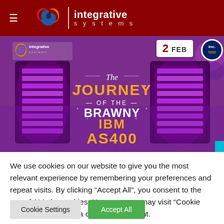[Figure (logo): Integrative Systems website header with dark red background, hamburger menu icon, company logo (interlocking swooshes in red, orange, blue), and company name 'integrative systems']
[Figure (infographic): Purple infographic image titled 'The Journey of the Brawny IBM AS400' showing IBM AS/400 server units with purple lighting, Integrative Systems logo top left, Inc. badge top right, date badge showing '2 FEB']
We use cookies on our website to give you the most relevant experience by remembering your preferences and repeat visits. By clicking “Accept All”, you consent to the use of ALL the cookies. However, you may visit “Cookie Settings” to provide a controlled consent.
Cookie Settings | Accept All